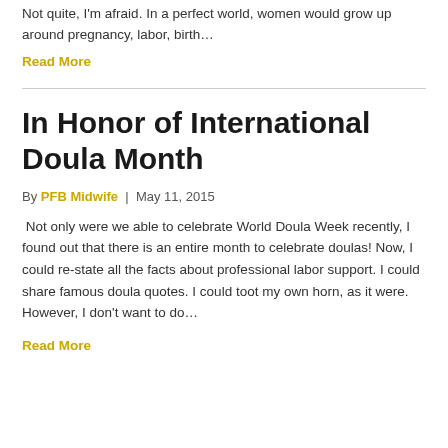Not quite, I'm afraid. In a perfect world, women would grow up around pregnancy, labor, birth…
Read More
In Honor of International Doula Month
By PFB Midwife | May 11, 2015
Not only were we able to celebrate World Doula Week recently, I found out that there is an entire month to celebrate doulas! Now, I could re-state all the facts about professional labor support. I could share famous doula quotes. I could toot my own horn, as it were. However, I don't want to do…
Read More